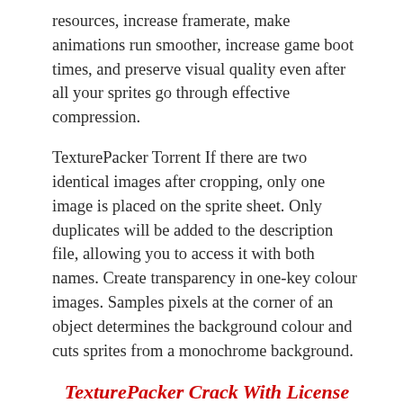resources, increase framerate, make animations run smoother, increase game boot times, and preserve visual quality even after all your sprites go through effective compression.
TexturePacker Torrent If there are two identical images after cropping, only one image is placed on the sprite sheet. Only duplicates will be added to the description file, allowing you to access it with both names. Create transparency in one-key colour images. Samples pixels at the corner of an object determines the background colour and cuts sprites from a monochrome background.
TexturePacker Crack With License Key Full Download
TexturePacker License Key to be able to create high-resolution images and scale existing images as a means of